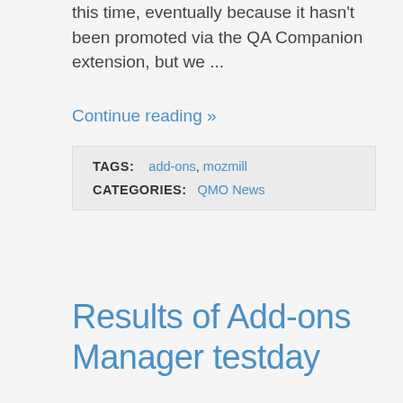this time, eventually because it hasn't been promoted via the QA Companion extension, but we ...
Continue reading »
TAGS: add-ons, mozmill
CATEGORIES: QMO News
Results of Add-ons Manager testday
May 3 2010
Henrik Skupin